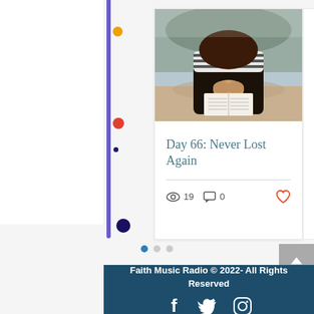[Figure (photo): Decorative sidebar with purple vertical bar and colored dots (orange, red, small dark, navy)]
[Figure (photo): Photo of a person sitting outdoors with hands clasped in prayer over an open book, wearing a striped shirt, sandy/natural background]
Day 66: Never Lost Again
19 views · 0 comments · heart/like icon
Pagination dots (3 dots, first active)
Faith Music Radio © 2022- All Rights Reserved
[Figure (illustration): Social media icons: Facebook, Twitter, Instagram]